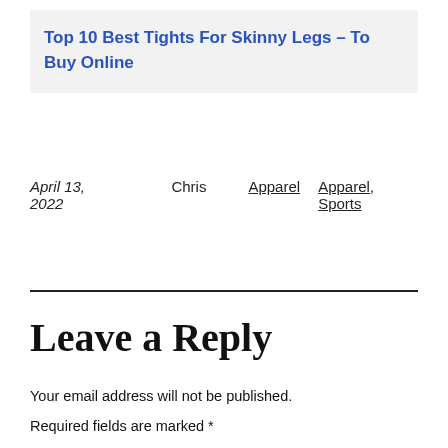Top 10 Best Tights For Skinny Legs – To Buy Online
April 13, 2022   Chris   Apparel   Apparel, Sports
Leave a Reply
Your email address will not be published.
Required fields are marked *